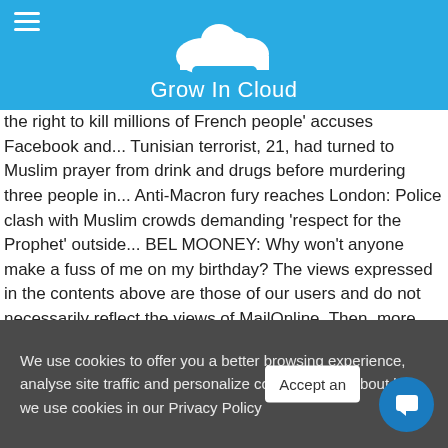Grow In Cloud
the right to kill millions of French people' accuses Facebook and... Tunisian terrorist, 21, had turned to Muslim prayer from drink and drugs before murdering three people in... Anti-Macron fury reaches London: Police clash with Muslim crowds demanding 'respect for the Prophet' outside... BEL MOONEY: Why won't anyone make a fuss of me on my birthday? The views expressed in the contents above are those of our users and do not necessarily reflect the views of MailOnline. Then, more than 20 years after Mary Day disappeared, a traffic stop in Arizona turned up a new twist and Cercone got a call he wasn't expecting. 'And we kept digging - and there was no body,' said Cercone. At this time, Charlotte and William Houle were both living in Kansas, and Charlotte spoke to the police in an interview. DNA tests
We use cookies to offer you a better browsing experience, analyse site traffic and personalize content. Read about how we use cookies in our Privacy Policy